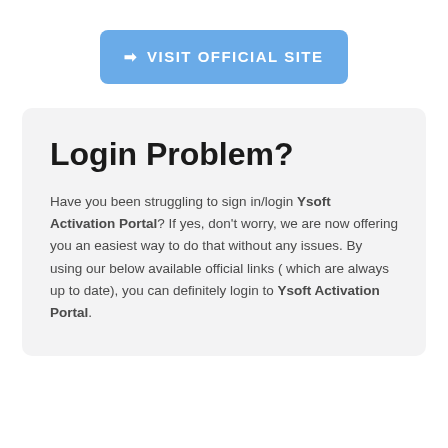[Figure (other): Blue button with arrow icon and text 'VISIT OFFICIAL SITE']
Login Problem?
Have you been struggling to sign in/login Ysoft Activation Portal? If yes, don't worry, we are now offering you an easiest way to do that without any issues. By using our below available official links ( which are always up to date), you can definitely login to Ysoft Activation Portal.